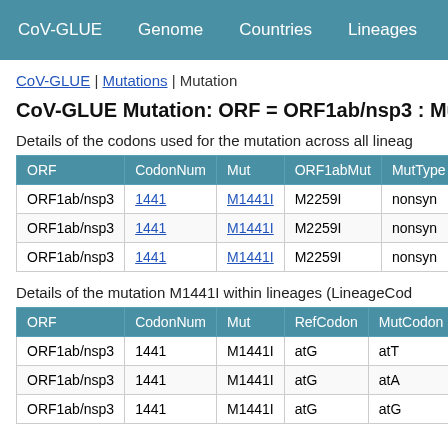CoV-GLUE | Genome | Countries | Lineages
CoV-GLUE | Mutations | Mutation
CoV-GLUE Mutation: ORF = ORF1ab/nsp3 : Mu
Details of the codons used for the mutation across all lineag
| ORF | CodonNum | Mut | ORF1abMut | MutType | Re |
| --- | --- | --- | --- | --- | --- |
| ORF1ab/nsp3 | 1441 | M1441I | M2259I | nonsyn | at |
| ORF1ab/nsp3 | 1441 | M1441I | M2259I | nonsyn | at |
| ORF1ab/nsp3 | 1441 | M1441I | M2259I | nonsyn | at |
Details of the mutation M1441I within lineages (LineageCod
| ORF | CodonNum | Mut | RefCodon | MutCodon | Co |
| --- | --- | --- | --- | --- | --- |
| ORF1ab/nsp3 | 1441 | M1441I | atG | atT | 70 |
| ORF1ab/nsp3 | 1441 | M1441I | atG | atA | 24 |
| ORF1ab/nsp3 | 1441 | M1441I | atG | atG | 1 |